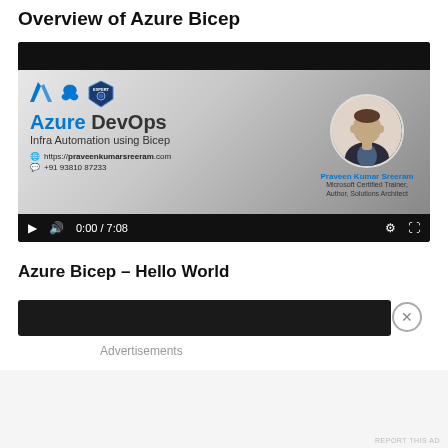Overview of Azure Bicep
[Figure (screenshot): Embedded video thumbnail showing Azure DevOps Infra Automation using Bicep course by Praveen Kumar Sreeram. Video controls show 0:00 / 7:08 timestamp. Includes Azure and Bicep logos, expert badge, and instructor portrait photo.]
Azure Bicep – Hello World
[Figure (screenshot): Second video player thumbnail, mostly black, with a close/X button overlay.]
Advertisements